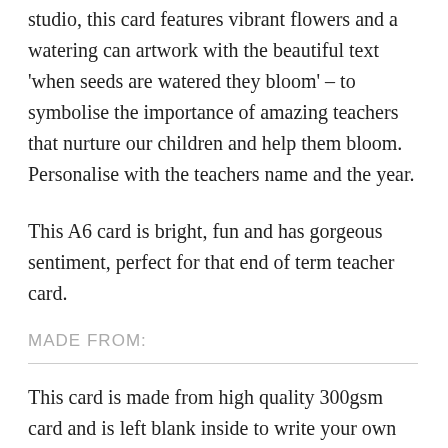studio, this card features vibrant flowers and a watering can artwork with the beautiful text 'when seeds are watered they bloom' – to symbolise the importance of amazing teachers that nurture our children and help them bloom. Personalise with the teachers name and the year.
This A6 card is bright, fun and has gorgeous sentiment, perfect for that end of term teacher card.
MADE FROM:
This card is made from high quality 300gsm card and is left blank inside to write your own message. A6 in size